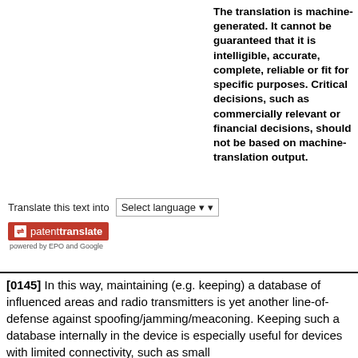The translation is machine-generated. It cannot be guaranteed that it is intelligible, accurate, complete, reliable or fit for specific purposes. Critical decisions, such as commercially relevant or financial decisions, should not be based on machine-translation output.
Translate this text into [Select language]
[Figure (logo): Patent Translate logo with arrows icon on red background, and 'powered by EPO and Google' text below]
[0145] In this way, maintaining (e.g. keeping) a database of influenced areas and radio transmitters is yet another line-of-defense against spoofing/jamming/meaconing. Keeping such a database internally in the device is especially useful for devices with limited connectivity, such as small